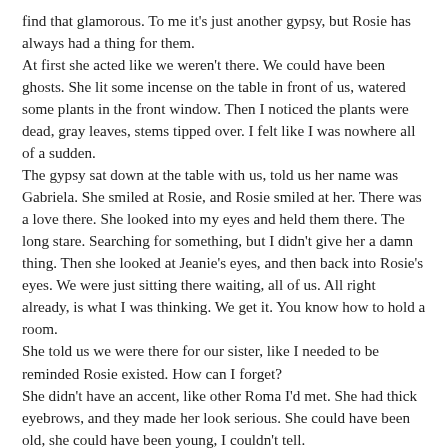find that glamorous. To me it's just another gypsy, but Rosie has always had a thing for them.
At first she acted like we weren't there. We could have been ghosts. She lit some incense on the table in front of us, watered some plants in the front window. Then I noticed the plants were dead, gray leaves, stems tipped over. I felt like I was nowhere all of a sudden.
The gypsy sat down at the table with us, told us her name was Gabriela. She smiled at Rosie, and Rosie smiled at her. There was a love there. She looked into my eyes and held them there. The long stare. Searching for something, but I didn't give her a damn thing. Then she looked at Jeanie's eyes, and then back into Rosie's eyes. We were just sitting there waiting, all of us. All right already, is what I was thinking. We get it. You know how to hold a room.
She told us we were there for our sister, like I needed to be reminded Rosie existed. How can I forget?
She didn't have an accent, like other Roma I'd met. She had thick eyebrows, and they made her look serious. She could have been old, she could have been young, I couldn't tell.